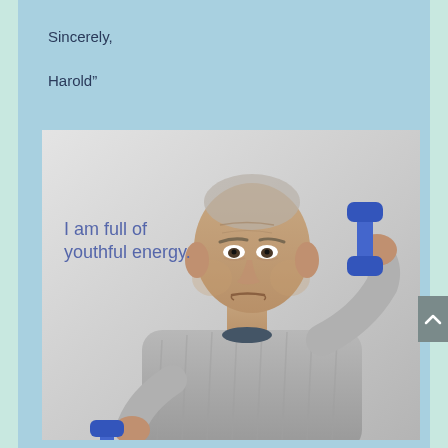Sincerely,
Harold”
[Figure (photo): Elderly Asian man with a serious expression holding blue dumbbells in both hands, wearing a grey patterned sweater and white pants, exercising against a light grey background. Text overlay reads: 'I am full of youthful energy.']